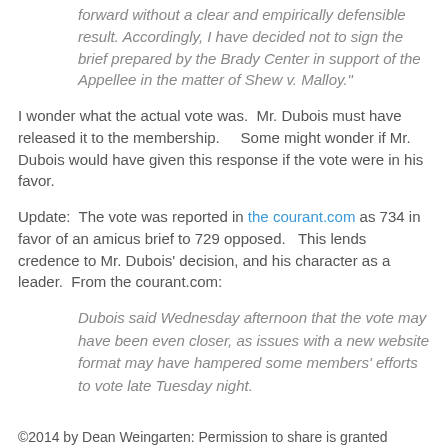forward without a clear and empirically defensible result. Accordingly, I have decided not to sign the brief prepared by the Brady Center in support of the Appellee in the matter of Shew v. Malloy."
I wonder what the actual vote was.  Mr. Dubois must have released it to the membership.     Some might wonder if Mr. Dubois would have given this response if the vote were in his favor.
Update:  The vote was reported in the courant.com as 734 in favor of an amicus brief to 729 opposed.   This lends credence to Mr. Dubois' decision, and his character as a leader.  From the courant.com:
Dubois said Wednesday afternoon that the vote may have been even closer, as issues with a new website format may have hampered some members' efforts to vote late Tuesday night.
©2014 by Dean Weingarten: Permission to share is granted